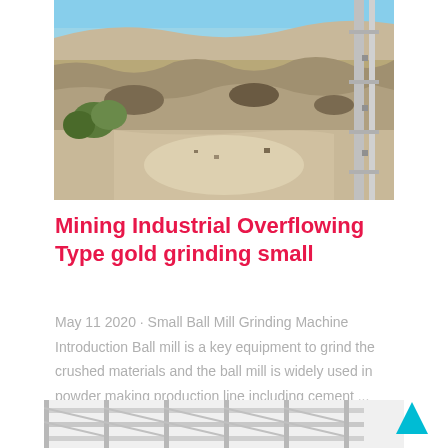[Figure (photo): Aerial view of a rocky quarry/mining site with exposed rock faces, sandy terrain, some vegetation, and a metal structure/scaffold visible on the right edge. Blue sky visible at the top.]
Mining Industrial Overflowing Type gold grinding small
May 11 2020 · Small Ball Mill Grinding Machine Introduction Ball mill is a key equipment to grind the crushed materials and the ball mill is widely used in powder making production line including cement ...
[Figure (photo): Partial view of an industrial metal framework/structure with beams and supports, shown from a low angle, appears to be a ball mill or industrial grinding structure.]